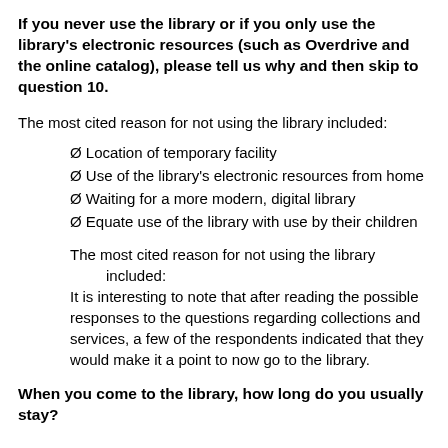If you never use the library or if you only use the library's electronic resources (such as Overdrive and the online catalog), please tell us why and then skip to question 10.
The most cited reason for not using the library included:
Ø Location of temporary facility
Ø Use of the library's electronic resources from home
Ø Waiting for a more modern, digital library
Ø Equate use of the library with use by their children
The most cited reason for not using the library included:
It is interesting to note that after reading the possible responses to the questions regarding collections and services, a few of the respondents indicated that they would make it a point to now go to the library.
When you come to the library, how long do you usually stay?